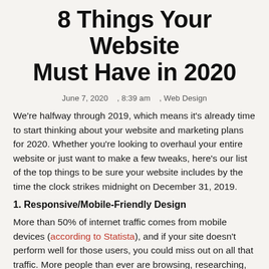8 Things Your Website Must Have in 2020
June 7, 2020    , 8:39 am    , Web Design
We're halfway through 2019, which means it's already time to start thinking about your website and marketing plans for 2020. Whether you're looking to overhaul your entire website or just want to make a few tweaks, here's our list of the top things to be sure your website includes by the time the clock strikes midnight on December 31, 2019.
1. Responsive/Mobile-Friendly Design
More than 50% of internet traffic comes from mobile devices (according to Statista), and if your site doesn't perform well for those users, you could miss out on all that traffic. More people than ever are browsing, researching, shopping, and engaging with websites on their phones—make sure your site